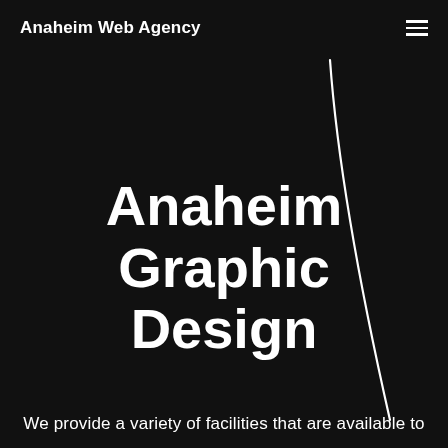Anaheim Web Agency
[Figure (illustration): Decorative curved white line forming a large arc shape in the upper-right portion of the dark background]
Anaheim Graphic Design
We provide a variety of facilities that are available to